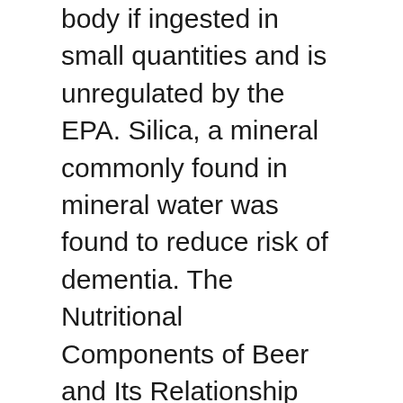body if ingested in small quantities and is unregulated by the EPA. Silica, a mineral commonly found in mineral water was found to reduce risk of dementia. The Nutritional Components of Beer and Its Relationship with Neurodegeneration and Alzheimer's Disease. (No Limit) Silver (Ag) Silver poisoning causes a blue-gray discoloration of the skin, mucous membranes, and eyes. If you or your child accidentally ingests silica gel, try to help the gel go into the stomach by drinking water. Expert's Answer. Silica. Effects on Your Skin. Workers around asphalt roofing materials, concrete products, cut stone, and clay products, especially in the railroad, shipyard, and oil and